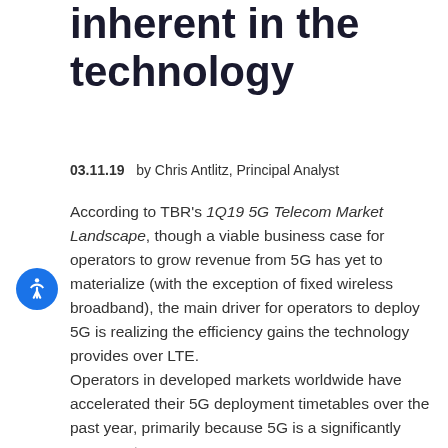inherent in the technology
03.11.19   by Chris Antlitz, Principal Analyst
According to TBR's 1Q19 5G Telecom Market Landscape, though a viable business case for operators to grow revenue from 5G has yet to materialize (with the exception of fixed wireless broadband), the main driver for operators to deploy 5G is realizing the efficiency gains the technology provides over LTE.
Operators in developed markets worldwide have accelerated their 5G deployment timetables over the past year, primarily because 5G is a significantly more cost-effective solution than alternative options.